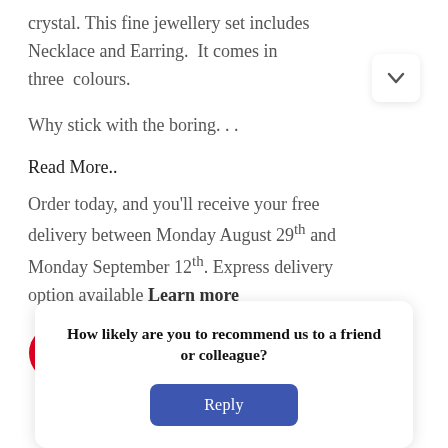crystal. This fine jewellery set includes Necklace and Earring.  It comes in three  colours.
Why stick with the boring. . .
Read More..
Order today, and you'll receive your free delivery between Monday August 29th and Monday September 12th. Express delivery option available Learn more
[Figure (infographic): Social media icons: Pinterest, Facebook, Instagram, YouTube]
How likely are you to recommend us to a friend or colleague?
Reply